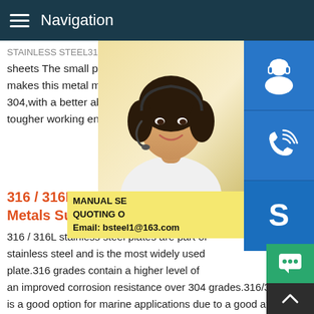Navigation
STAINLESS STEEL316 restaurant grade sheets The small percentage of molybden makes this metal more heat and corrosion 304,with a better ability to resist pitting and tougher working environments.
[Figure (photo): Woman with headset providing customer support, with blue service icon buttons (support, phone/Skype, Skype) on the right side]
316 / 316L Stainless Steel Pla Metals Suppliers
316 / 316L stainless steel plates are part of stainless steel and is the most widely used plate.316 grades contain a higher level of an improved corrosion resistance over 304 grades.316/316L plate is a good option for marine applications due to a good atmospheric corrosion resistance.316L is a low carbon modification results this questionWhat is austenitic stainless steel?What is austenitic stainless steel?Austenitic stainless steel is one of the most widely used and versatile type of steel.While 304L stainless steel pla
MANUAL SE QUOTING O Email: bsteel1@163.com